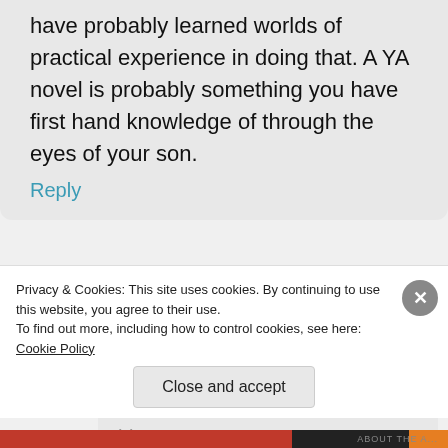have probably learned worlds of practical experience in doing that. A YA novel is probably something you have first hand knowledge of through the eyes of your son.
Reply
[Figure (photo): Circular avatar photo of a person with blonde hair and sunglasses]
writingfeemail
December 1, 2012 at 7:07 pm
You are so right. I didn't realize how much I picked up through him
Privacy & Cookies: This site uses cookies. By continuing to use this website, you agree to their use.
To find out more, including how to control cookies, see here: Cookie Policy
Close and accept